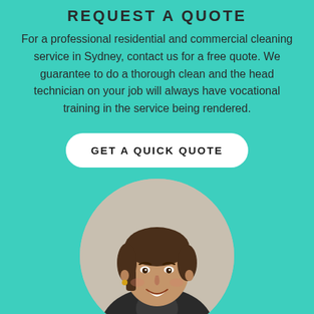REQUEST A QUOTE
For a professional residential and commercial cleaning service in Sydney, contact us for a free quote. We guarantee to do a thorough clean and the head technician on your job will always have vocational training in the service being rendered.
GET A QUICK QUOTE
[Figure (photo): Circular cropped headshot photo of a smiling woman with short dark brown hair, wearing a dark jacket, against a light beige background.]